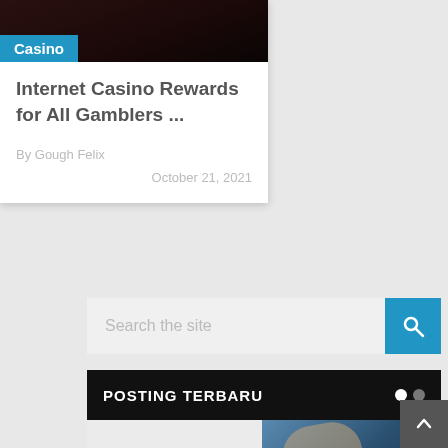[Figure (screenshot): Article card with casino image at top, Casino badge, article title, author and date]
Casino
Internet Casino Rewards for All Gamblers ...
By Gough Felix
October 21, 2021
[Figure (screenshot): Search bar with text 'Search the site' and blue search button]
POSTING TERBARU
[Figure (photo): No Preview placeholder on left, photo of hand holding casino chips on blue felt on right]